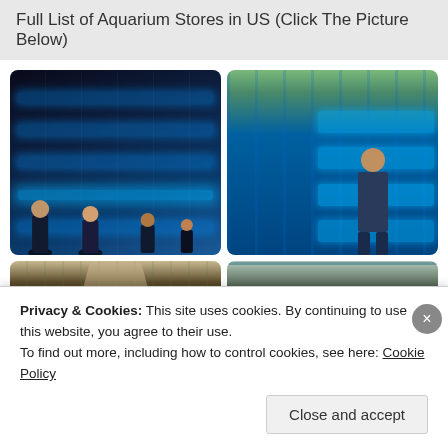Full List of Aquarium Stores in US (Click The Picture Below)
[Figure (photo): Four photos of aquarium stores in a 2x2 grid: top-left shows a large aquarium store with blue lighting and many people browsing tanks; top-right shows a man looking at wall-mounted aquarium tanks with colorful fish; bottom-left shows a store aisle with rows of aquarium tanks on both sides; bottom-right shows a store with large aquarium tanks illuminated in blue]
Privacy & Cookies: This site uses cookies. By continuing to use this website, you agree to their use.
To find out more, including how to control cookies, see here: Cookie Policy
Close and accept